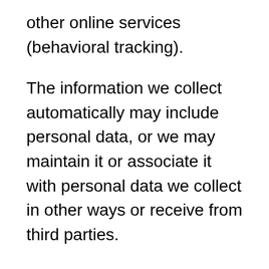other online services (behavioral tracking).
The information we collect automatically may include personal data, or we may maintain it or associate it with personal data we collect in other ways or receive from third parties.
5.3 Location data
We use your IP address to infer your approximate location. We may also collect the language option or country you choose. When we provide certain services, such as providing you with a version of our Services that is localized to your country, we link